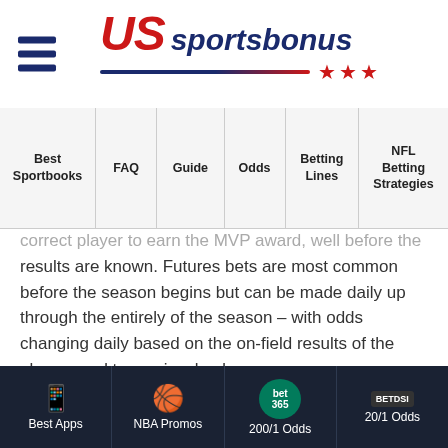US Sportsbonus - site header with hamburger menu and logo
| Best Sportbooks | FAQ | Guide | Odds | Betting Lines | NFL Betting Strategies |
| --- | --- | --- | --- | --- | --- |
correct player to earn the MVP award, well before the results are known. Futures bets are most common before the season begins but can be made daily up through the entirely of the season – with odds changing daily based on the on-field results of the players and teams involved.
In-Game/In-Play/Live Betting
A look at the future of sports wagering...
Best Apps | NBA Promos | 200/1 Odds | 20/1 Odds